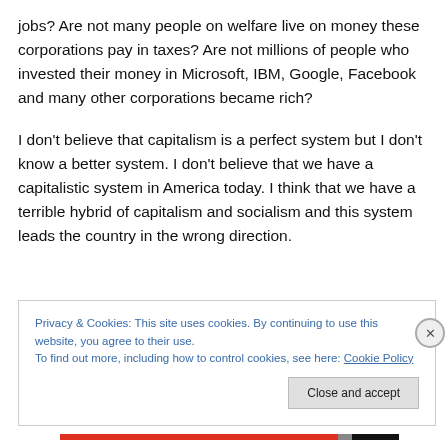jobs? Are not many people on welfare live on money these corporations pay in taxes? Are not millions of people who invested their money in Microsoft, IBM, Google, Facebook and many other corporations became rich?

I don't believe that capitalism is a perfect system but I don't know a better system. I don't believe that we have a capitalistic system in America today. I think that we have a terrible hybrid of capitalism and socialism and this system leads the country in the wrong direction.
Privacy & Cookies: This site uses cookies. By continuing to use this website, you agree to their use.
To find out more, including how to control cookies, see here: Cookie Policy